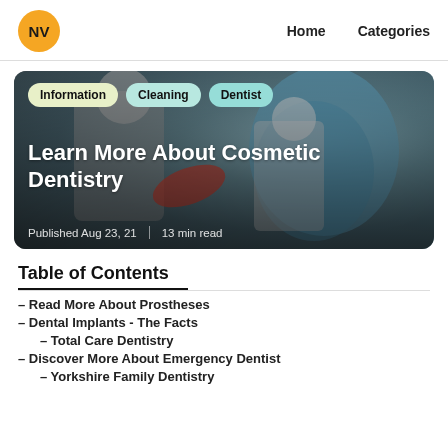NV | Home | Categories
[Figure (photo): Dental care scene showing a dental professional with a child patient in a dental chair, with overlay tags: Information, Cleaning, Dentist. Title: Learn More About Cosmetic Dentistry. Published Aug 23, 21 | 13 min read]
Table of Contents
– Read More About Prostheses
– Dental Implants - The Facts
– Total Care Dentistry
– Discover More About Emergency Dentist
– Yorkshire Family Dentistry